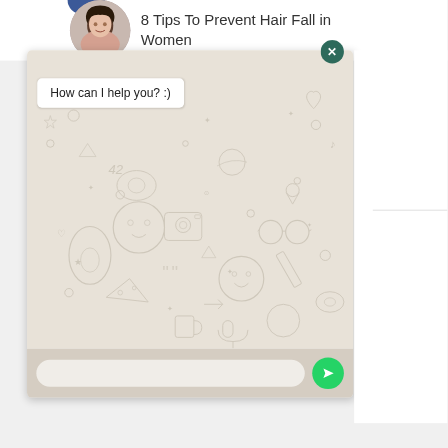[Figure (screenshot): WhatsApp-style chat widget screenshot showing a message bubble with 'How can I help you? :)' text, with a decorative doodle background pattern, close button (X) in dark green, and a message input bar with green send button at the bottom. Above the widget is a partial article header showing a woman's avatar and text '8 Tips To Prevent Hair Fall in Women'.]
8 Tips To Prevent Hair Fall in Women
How can I help you? :)